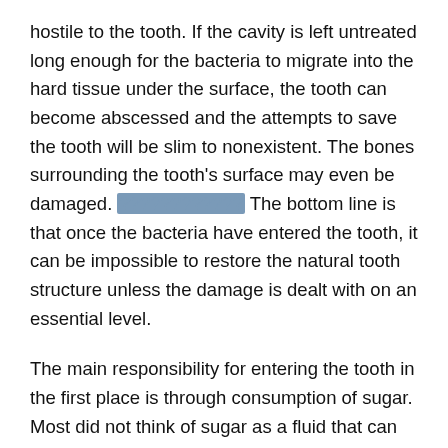hostile to the tooth. If the cavity is left untreated long enough for the bacteria to migrate into the hard tissue under the surface, the tooth can become abscessed and the attempts to save the tooth will be slim to nonexistent. The bones surrounding the tooth's surface may even be damaged. ???????????? The bottom line is that once the bacteria have entered the tooth, it can be impossible to restore the natural tooth structure unless the damage is dealt with on an essential level.
The main responsibility for entering the tooth in the first place is through consumption of sugar. Most did not think of sugar as a fluid that can be easily contained and removed. How great is this fact? Because sugar is one of the most frequently consumed substances in the human